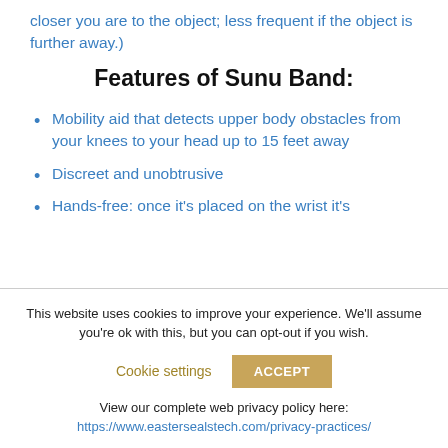closer you are to the object; less frequent if the object is further away.)
Features of Sunu Band:
Mobility aid that detects upper body obstacles from your knees to your head up to 15 feet away
Discreet and unobtrusive
Hands-free: once it's placed on the wrist it's
This website uses cookies to improve your experience. We'll assume you're ok with this, but you can opt-out if you wish.
Cookie settings  ACCEPT
View our complete web privacy policy here:
https://www.eastersealstech.com/privacy-practices/